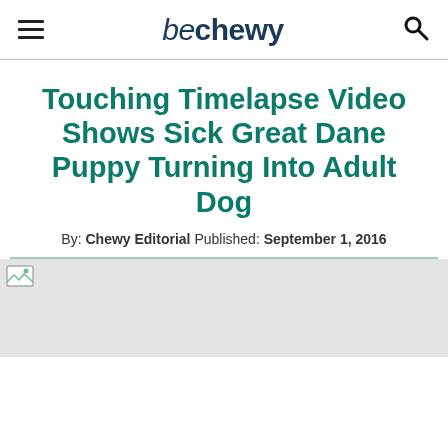be chewy
Touching Timelapse Video Shows Sick Great Dane Puppy Turning Into Adult Dog
By: Chewy Editorial Published: September 1, 2016
[Figure (photo): Image placeholder with broken image icon at top-left, light gray background]